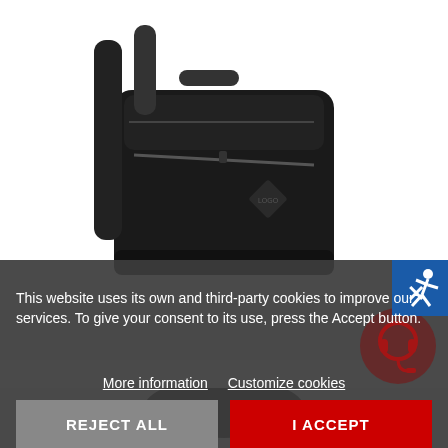[Figure (photo): Black backpack product photo on white background, viewed from the side/front angle, showing zippers and straps]
[Figure (screenshot): Blue icon button with white running figure silhouette in top right area]
This website uses its own and third-party cookies to improve our services. To give your consent to its use, press the Accept button.
More information   Customize cookies
REJECT ALL
I ACCEPT